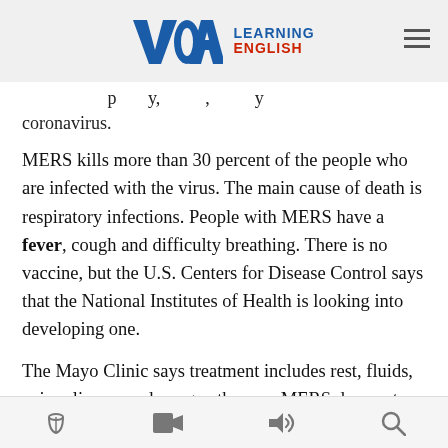VOA LEARNING ENGLISH
... particularly, y, coronavirus.
MERS kills more than 30 percent of the people who are infected with the virus. The main cause of death is respiratory infections. People with MERS have a fever, cough and difficulty breathing. There is no vaccine, but the U.S. Centers for Disease Control says that the National Institutes of Health is looking into developing one.
The Mayo Clinic says treatment includes rest, fluids, pain relievers and oxygen therapy. MERS does not spread easily. It usually only affects people who are in
[book icon] [video icon] [audio icon] [search icon]